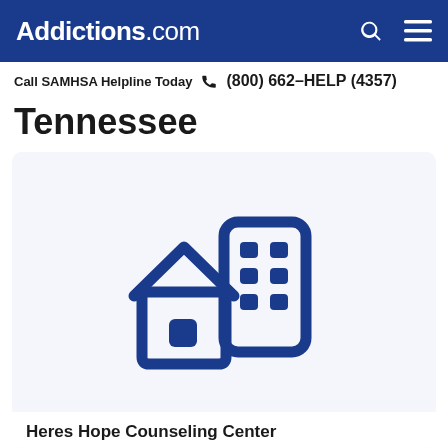Addictions.com
Call SAMHSA Helpline Today  (800) 662-HELP (4357)
Tennessee
[Figure (illustration): Icon of a house and building representing a counseling/rehab center, rendered in dark blue on a light blue-gray card background]
Heres Hope Counseling Center